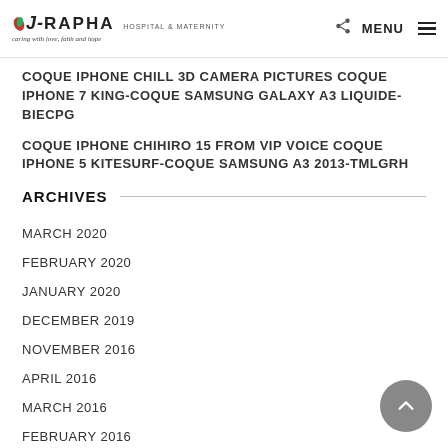J-RAPHA HOSPITAL & MATERNITY — caring with love, faith and hope | MENU
COQUE IPHONE CHILL 3D CAMERA PICTURES COQUE IPHONE 7 KING-COQUE SAMSUNG GALAXY A3 LIQUIDE-BIECPG
COQUE IPHONE CHIHIRO 15 FROM VIP VOICE COQUE IPHONE 5 KITESURF-COQUE SAMSUNG A3 2013-TMLGRH
ARCHIVES
MARCH 2020
FEBRUARY 2020
JANUARY 2020
DECEMBER 2019
NOVEMBER 2016
APRIL 2016
MARCH 2016
FEBRUARY 2016
JANUARY 2016
DECEMBER 2015